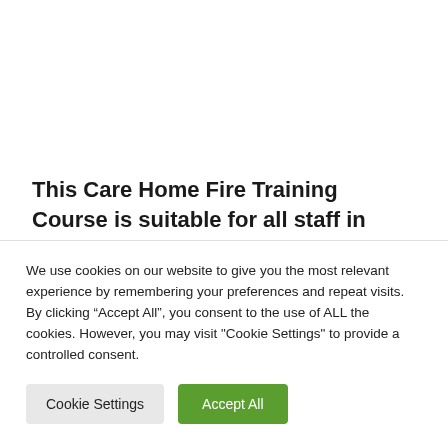This Care Home Fire Training Course is suitable for all staff in residential care homes, nursing homes, assisted and independent living complexes.
We use cookies on our website to give you the most relevant experience by remembering your preferences and repeat visits. By clicking “Accept All”, you consent to the use of ALL the cookies. However, you may visit "Cookie Settings" to provide a controlled consent.